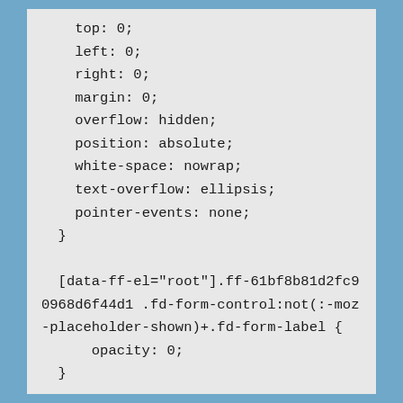top: 0;
    left: 0;
    right: 0;
    margin: 0;
    overflow: hidden;
    position: absolute;
    white-space: nowrap;
    text-overflow: ellipsis;
    pointer-events: none;
  }

  [data-ff-el="root"].ff-61bf8b81d2fc90968d6f44d1 .fd-form-control:not(:-moz-placeholder-shown)+.fd-form-label {
      opacity: 0;
  }